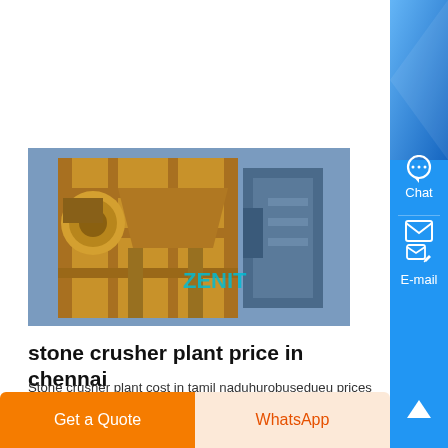[Figure (photo): Stone crusher plant machinery — industrial yellow crushing equipment with ZENIT branding visible]
stone crusher plant price in chennai
Stone crusher plant cost in tamil naduhurobusedueu prices of stone crushing line differ from different, get contact details addre find here details of companies selling stone crusher plant in chennai, 6Stone crusher price details in chennaipizzamanteca import export trade forum forwarders 200393 advertise your exp import and business...
Know More